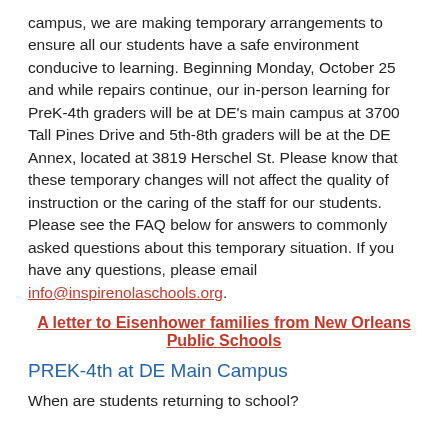campus, we are making temporary arrangements to ensure all our students have a safe environment conducive to learning. Beginning Monday, October 25 and while repairs continue, our in-person learning for PreK-4th graders will be at DE's main campus at 3700 Tall Pines Drive and 5th-8th graders will be at the DE Annex, located at 3819 Herschel St. Please know that these temporary changes will not affect the quality of instruction or the caring of the staff for our students. Please see the FAQ below for answers to commonly asked questions about this temporary situation. If you have any questions, please email info@inspirenolaschools.org.
A letter to Eisenhower families from New Orleans Public Schools
PREK-4th at DE Main Campus
When are students returning to school?